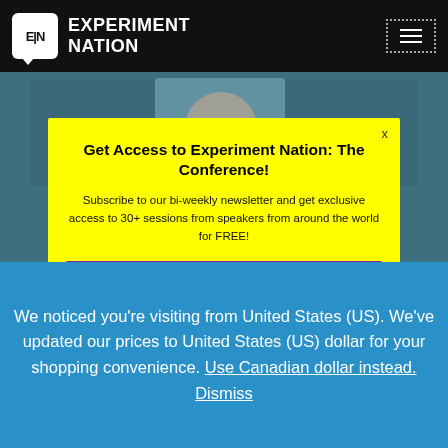EXPERIMENT NATION
[Figure (screenshot): Website screenshot showing Experiment Nation header with logo and hamburger menu, a blurred video/photo background showing a person, a yellow popup modal, and a blue currency notification bar at the bottom.]
Get Access to Experiment Nation: The Conference!
Subscribe to our bi-weekly newsletter and get exclusive access to 30+ sessions from speakers from around the world for FREE!
Learn more
We noticed you’re visiting from United States (US). We’ve updated our prices to United States (US) dollar for your shopping convenience. Use Canadian dollar instead. Dismiss